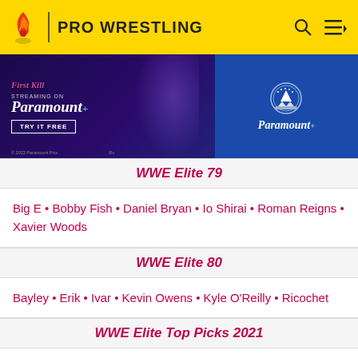PRO WRESTLING
[Figure (photo): Paramount+ advertisement banner for 'First Kill' streaming show]
WWE Elite 79
Big E • Bobby Fish • Daniel Bryan • Io Shirai • Roman Reigns • Xavier Woods
WWE Elite 80
Bayley • Erik • Ivar • Kevin Owens • Kyle O'Reilly • Ricochet
WWE Elite Top Picks 2021
Drew McIntyre • Kofi Kingston • Roman Reigns • "The Fiend" Bray Wyatt
WWE Elite 81